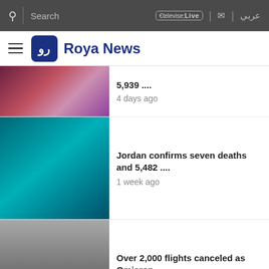Search | Live | Mail | عربي — Roya News
5,939 .... 4 days ago
Jordan confirms seven deaths and 5,482 .... 1 week ago
Over 2,000 flights canceled as Omicron .... 7 months ago
Palestinian American appointed as .... 1 year ago